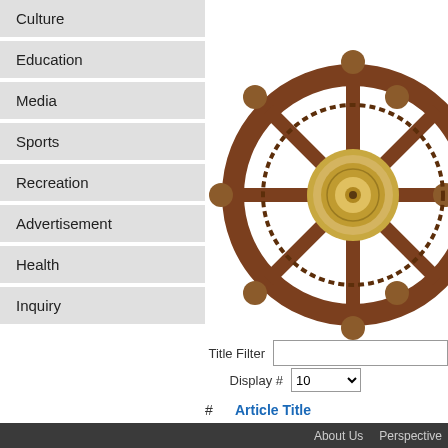Culture
Education
Media
Sports
Recreation
Advertisement
Health
Inquiry
[Figure (photo): A ship's wheel (helm) made of dark wood with brass barometer instrument at center]
Title Filter
Display #  10
#   Article Title
About Us   Perspective
Latest News
Have your say!
LLC "LuhanskVoda"
"Zorya" loss
Luhansk Chamber of Commerce
Stimulus or Regulation